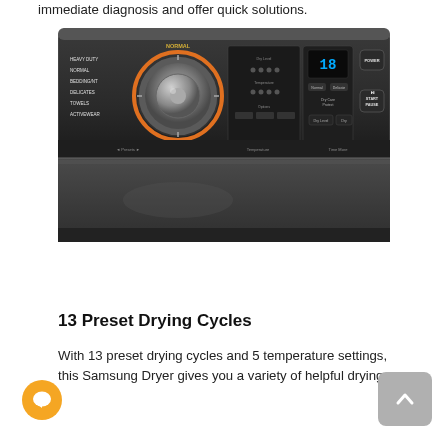immediate diagnosis and offer quick solutions.
[Figure (photo): Close-up top view of a Samsung dryer control panel in dark graphite finish, showing a large central cycle selector dial with orange ring, digital display showing time, and various control buttons including Power and Start/Pause.]
13 Preset Drying Cycles
With 13 preset drying cycles and 5 temperature settings, this Samsung Dryer gives you a variety of helpful drying...